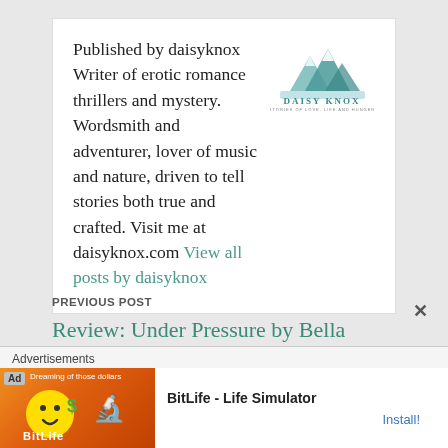Published by daisyknox Writer of erotic romance thrillers and mystery. Wordsmith and adventurer, lover of music and nature, driven to tell stories both true and crafted. Visit me at daisyknox.com View all posts by daisyknox
[Figure (logo): Daisy Knox logo with mountain/water graphic and text 'DAISY KNOX' with tagline]
PREVIOUS POST
Review: Under Pressure by Bella Matthews
Advertisements
[Figure (screenshot): BitLife - Life Simulator advertisement banner with smiley face and sperm emoji graphics, Install button]